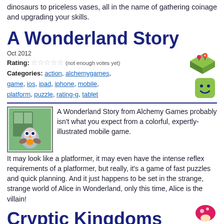dinosaurs to priceless vases, all in the name of gathering coinage and upgrading your skills.
A Wonderland Story
Oct 2012
Rating: ☆☆☆☆☆ (not enough votes yet)
Categories: action, alchemygames, game, ios, ipad, iphone, mobile, platform, puzzle, rating-g, tablet
A Wonderland Story from Alchemy Games probably isn't what you expect from a colorful, expertly-illustrated mobile game. It may look like a platformer, it may even have the intense reflex requirements of a platformer, but really, it's a game of fast puzzles and quick planning. And it just happens to be set in the strange, strange world of Alice in Wonderland, only this time, Alice is the villain!
Cryptic Kingdoms
Oct 2012
Rating: ☆☆☆☆☆ (not enough votes yet)